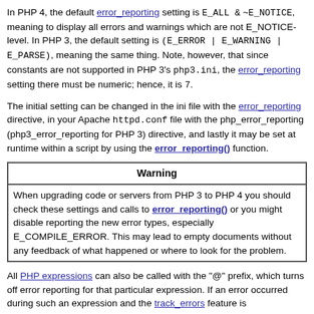In PHP 4, the default error_reporting setting is E_ALL & ~E_NOTICE, meaning to display all errors and warnings which are not E_NOTICE-level. In PHP 3, the default setting is (E_ERROR | E_WARNING | E_PARSE), meaning the same thing. Note, however, that since constants are not supported in PHP 3's php3.ini, the error_reporting setting there must be numeric; hence, it is 7.
The initial setting can be changed in the ini file with the error_reporting directive, in your Apache httpd.conf file with the php_error_reporting (php3_error_reporting for PHP 3) directive, and lastly it may be set at runtime within a script by using the error_reporting() function.
| Warning |
| --- |
| When upgrading code or servers from PHP 3 to PHP 4 you should check these settings and calls to error_reporting() or you might disable reporting the new error types, especially E_COMPILE_ERROR. This may lead to empty documents without any feedback of what happened or where to look for the problem. |
All PHP expressions can also be called with the "@" prefix, which turns off error reporting for that particular expression. If an error occurred during such an expression and the track_errors feature is